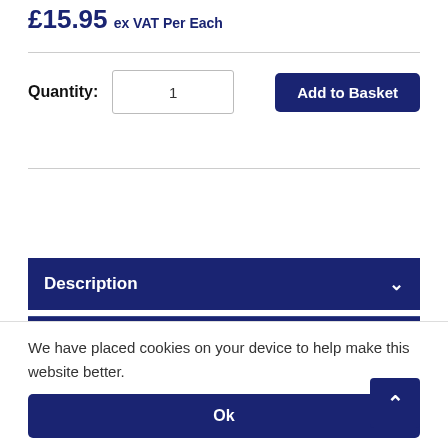£15.95 ex VAT Per Each
Quantity: 1
Add to Basket
View Department
Description
Technical Data
Reviews
We have placed cookies on your device to help make this website better.
Ok